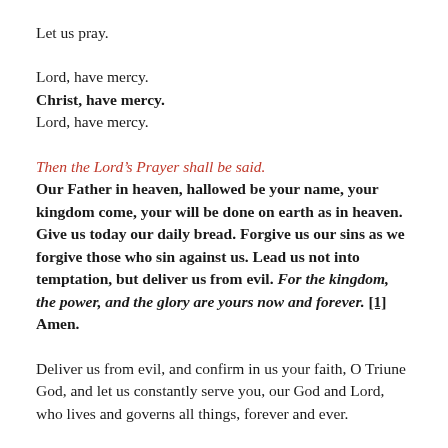Let us pray.
Lord, have mercy.
Christ, have mercy.
Lord, have mercy.
Then the Lord's Prayer shall be said.
Our Father in heaven, hallowed be your name, your kingdom come, your will be done on earth as in heaven. Give us today our daily bread. Forgive us our sins as we forgive those who sin against us. Lead us not into temptation, but deliver us from evil. For the kingdom, the power, and the glory are yours now and forever. [1] Amen.
Deliver us from evil, and confirm in us your faith, O Triune God, and let us constantly serve you, our God and Lord, who lives and governs all things, forever and ever.